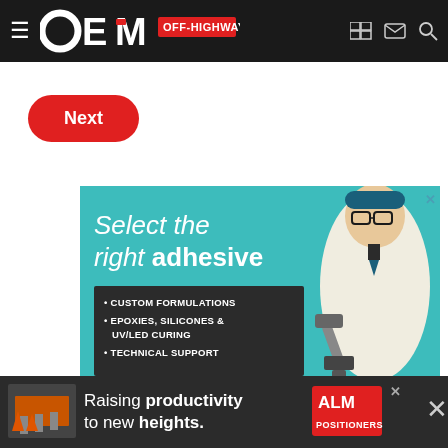OEM OFF-HIGHWAY
Next
[Figure (illustration): Master Bond advertisement: 'Select the right adhesive' with bullet points: CUSTOM FORMULATIONS, EPOXIES, SILICONES & UV/LED CURING, TECHNICAL SUPPORT. Features an illustrated scientist/engineer character. Master Bond logo at bottom with tagline ADHESIVES | SEALANTS | COATINGS.]
[Figure (illustration): ALM Positioners banner advertisement: 'Raising productivity to new heights.' with ALM logo on red background.]